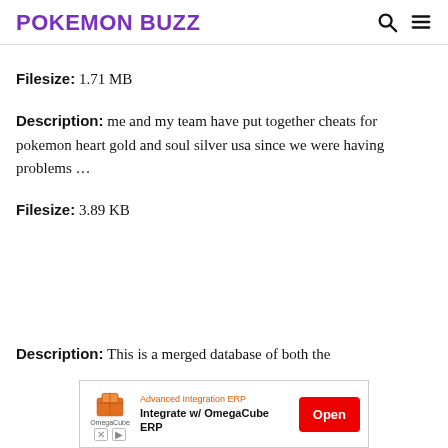POKEMON BUZZ
Filesize: 1.71 MB
Description: me and my team have put together cheats for pokemon heart gold and soul silver usa since we were having problems ...
Filesize: 3.89 KB
Description: This is a merged database of both the
[Figure (screenshot): Advertisement banner for OmegaCube ERP with text 'Advanced Integration ERP', 'Integrate w/ OmegaCube ERP', and an 'Open' button]